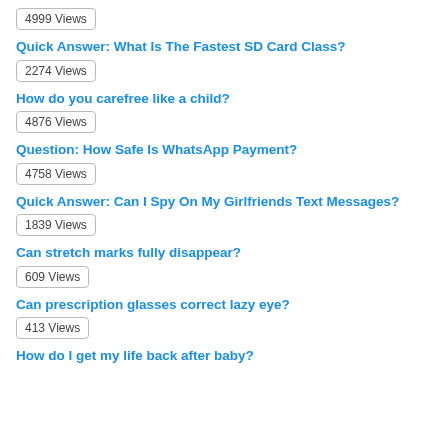4999 Views
Quick Answer: What Is The Fastest SD Card Class?
2274 Views
How do you carefree like a child?
4876 Views
Question: How Safe Is WhatsApp Payment?
4758 Views
Quick Answer: Can I Spy On My Girlfriends Text Messages?
1839 Views
Can stretch marks fully disappear?
609 Views
Can prescription glasses correct lazy eye?
413 Views
How do I get my life back after baby?